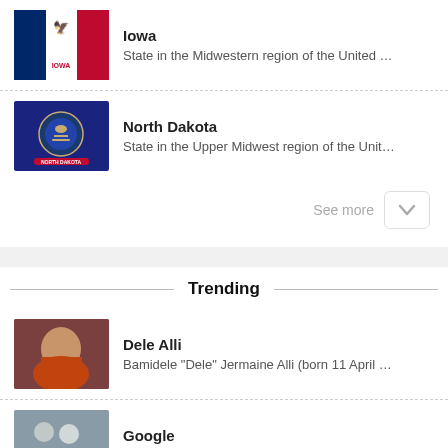Iowa — State in the Midwestern region of the United …
North Dakota — State in the Upper Midwest region of the Unit…
See more
Trending
Dele Alli — Bamidele "Dele" Jermaine Alli (born 11 April …
Google — Google LLC is an American multinational tec…
Rwanda — Rwanda, officially the Republic of Rwanda, is…
Badu Di…